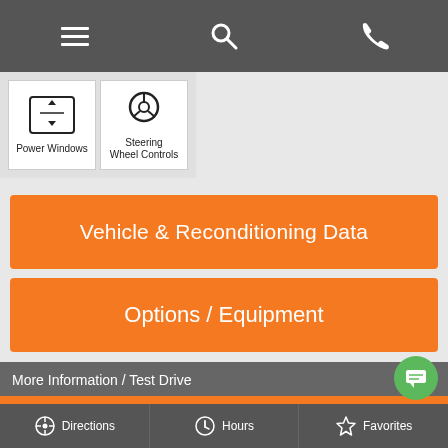[Figure (screenshot): Top navigation bar with hamburger menu, search icon, and phone icon on dark grey background]
[Figure (illustration): Power Windows icon — up/down arrows in box]
[Figure (illustration): Steering Wheel Controls icon — steering wheel graphic with label]
Vehicle & Reconditioning Data
Options / Equipment
More Information / Test Drive
R&B Car Company South Bend
3811 S Michigan St.
South Bend IN, 46614
[Figure (illustration): Map with red location pin illustration]
Directions
Hours
Favorites